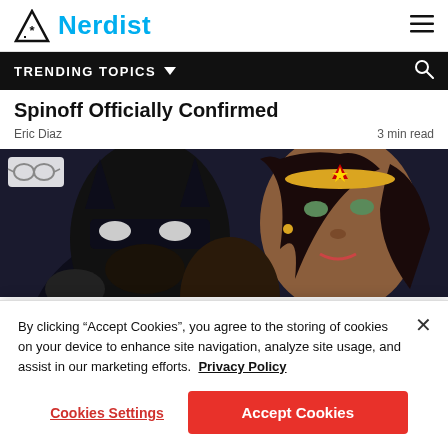Nerdist
TRENDING TOPICS
Spinoff Officially Confirmed
Eric Diaz   3 min read
[Figure (illustration): Comic book style illustration showing Batman (left) and Wonder Woman (right) looking upward, with a small glasses icon in the top left corner of the image.]
By clicking “Accept Cookies”, you agree to the storing of cookies on your device to enhance site navigation, analyze site usage, and assist in our marketing efforts.  Privacy Policy
Cookies Settings   Accept Cookies